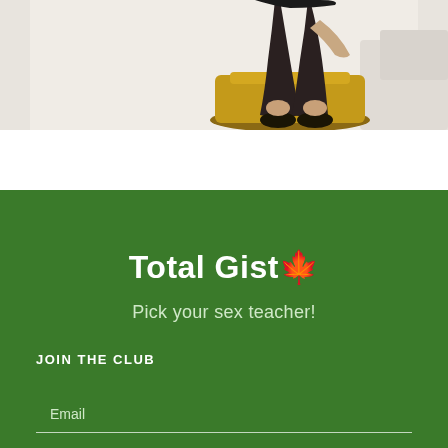[Figure (photo): Partial photo of a person seated, showing legs in dark stockings and heels, with a gold/ornate chair visible, white interior background]
Total Gist🍃
Pick your sex teacher!
JOIN THE CLUB
Email